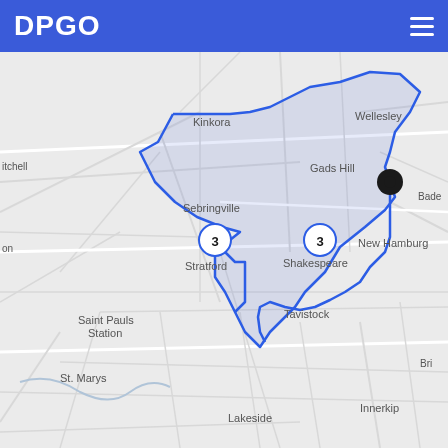DPGO
[Figure (map): Street map of southwestern Ontario, Canada showing towns including Kinkora, Wellesley, Gads Hill, Sebringville, Stratford (with circled number 3 marker), Shakespeare (with circled number 3 marker), New Hamburg, Saint Pauls Station, Tavistock, St. Marys, Lakeside, Embro, Perrys Lane, Woodstock, Innerkip, Kintore, Thorndale. A blue polygon route is drawn connecting Kinkora area south through Stratford, east to New Hamburg area (marked with a black circle pin), south to Tavistock, and back. Road network shown in light grey/white.]